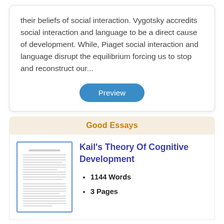their beliefs of social interaction. Vygotsky accredits social interaction and language to be a direct cause of development. While, Piaget social interaction and language disrupt the equilibrium forcing us to stop and reconstruct our...
[Figure (other): A blue rounded-rectangle button labeled 'Preview']
Good Essays
[Figure (other): Thumbnail image of a printed essay document page with small text lines]
Kail's Theory Of Cognitive Development
1144 Words
3 Pages